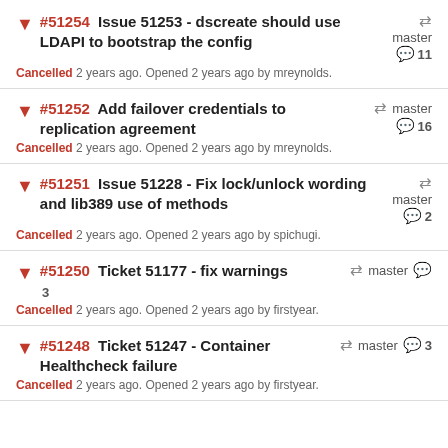#51254 Issue 51253 - dscreate should use LDAPI to bootstrap the config — master — 11 comments — Cancelled 2 years ago. Opened 2 years ago by mreynolds.
#51252 Add failover credentials to replication agreement — master — 16 comments — Cancelled 2 years ago. Opened 2 years ago by mreynolds.
#51251 Issue 51228 - Fix lock/unlock wording and lib389 use of methods — master — 2 comments — Cancelled 2 years ago. Opened 2 years ago by spichugi.
#51250 Ticket 51177 - fix warnings — master — 3 comments — Cancelled 2 years ago. Opened 2 years ago by firstyear.
#51248 Ticket 51247 - Container Healthcheck failure — master — 3 comments — Cancelled 2 years ago. Opened 2 years ago by firstyear.